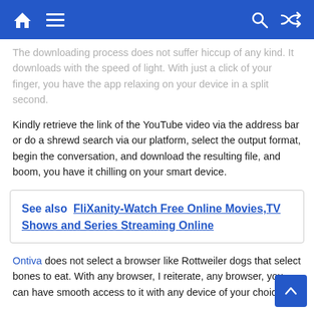Navigation header with home, menu, search, and shuffle icons
The downloading process does not suffer hiccup of any kind. It downloads with the speed of light. With just a click of your finger, you have the app relaxing on your device in a split second.
Kindly retrieve the link of the YouTube video via the address bar or do a shrewd search via our platform, select the output format, begin the conversation, and download the resulting file, and boom, you have it chilling on your smart device.
See also  FliXanity-Watch Free Online Movies,TV Shows and Series Streaming Online
Ontiva does not select a browser like Rottweiler dogs that select bones to eat. With any browser, I reiterate, any browser, you can have smooth access to it with any device of your choice.